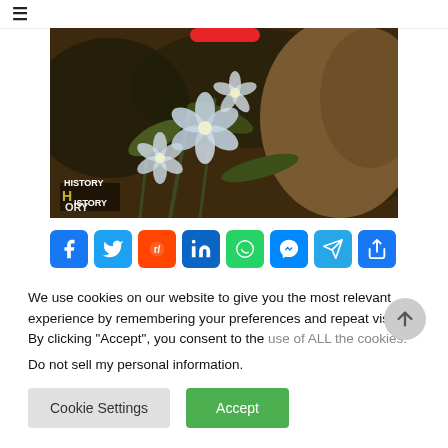☰
[Figure (photo): Close-up photo of white flowers with blurred animal and foliage background, partially showing a History channel logo watermark at the bottom left]
[Figure (infographic): Row of social media share buttons: Facebook, Twitter, Reddit, LinkedIn, WhatsApp, Messenger, Telegram, and another share icon]
We use cookies on our website to give you the most relevant experience by remembering your preferences and repeat visits. By clicking "Accept", you consent to the use of ALL the cookies.
Do not sell my personal information.
Cookie Settings
Accept